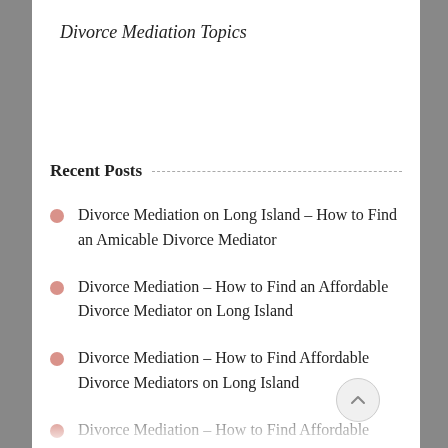Divorce Mediation Topics
Recent Posts
Divorce Mediation on Long Island – How to Find an Amicable Divorce Mediator
Divorce Mediation – How to Find an Affordable Divorce Mediator on Long Island
Divorce Mediation – How to Find Affordable Divorce Mediators on Long Island
Divorce Mediation – How to Find Affordable